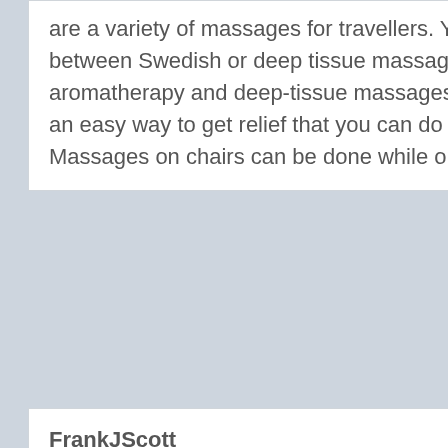are a variety of massages for travellers. You can choose between Swedish or deep tissue massages, along with aromatherapy and deep-tissue massages. A chair massage is an easy way to get relief that you can do anywhere. Massages on chairs can be done while on business travels.
FrankJScott
[Figure (photo): Default user avatar placeholder — silhouette of a person (head and shoulders) in light gray on a slightly darker gray background]
8548 posts
February 9, 2022 7:49 PM PST